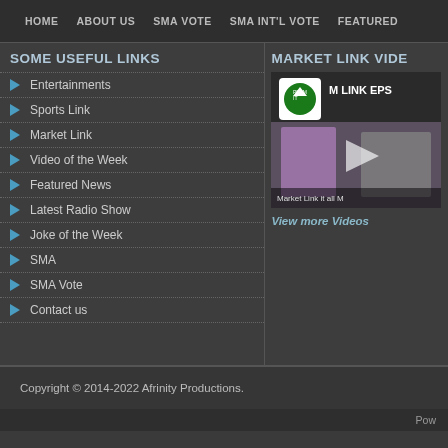HOME   ABOUT US   SMA VOTE   SMA INT'L VOTE   FEATURED
SOME USEFUL LINKS
Entertainments
Sports Link
Market Link
Video of the Week
Featured News
Latest Radio Show
Joke of the Week
SMA
SMA Vote
Contact us
MARKET LINK VIDE
[Figure (screenshot): Video thumbnail showing M LINK EPS with a logo and two people, with a play button overlay and text 'Market Link it all M']
View more Videos
Copyright © 2014-2022 Afrinity Productions.
Pow